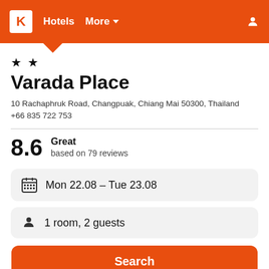K  Hotels  More
★ ★
Varada Place
10 Rachaphruk Road, Changpuak, Chiang Mai 50300, Thailand
+66 835 722 753
8.6  Great
based on 79 reviews
Mon 22.08  –  Tue 23.08
1 room, 2 guests
Search